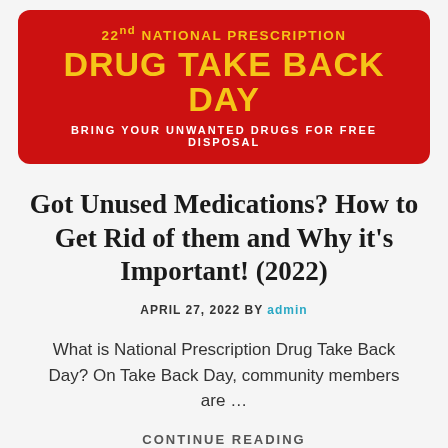[Figure (infographic): Red banner for 22nd National Prescription Drug Take Back Day with yellow text and white tagline reading 'Bring Your Unwanted Drugs For Free Disposal']
Got Unused Medications? How to Get Rid of them and Why it's Important! (2022)
APRIL 27, 2022 by admin
What is National Prescription Drug Take Back Day? On Take Back Day, community members are …
CONTINUE READING